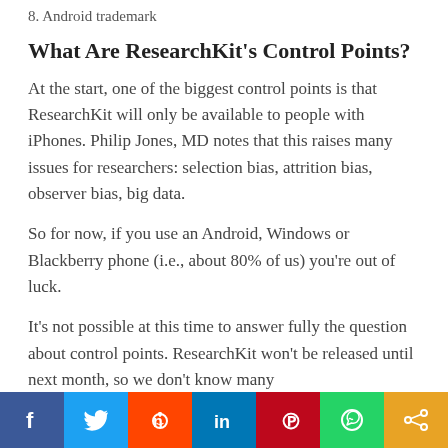8. Android trademark
What Are ResearchKit's Control Points?
At the start, one of the biggest control points is that ResearchKit will only be available to people with iPhones. Philip Jones, MD notes that this raises many issues for researchers: selection bias, attrition bias, observer bias, big data.
So for now, if you use an Android, Windows or Blackberry phone (i.e., about 80% of us) you’re out of luck.
It’s not possible at this time to answer fully the question about control points. ResearchKit won’t be released until next month, so we don’t know many